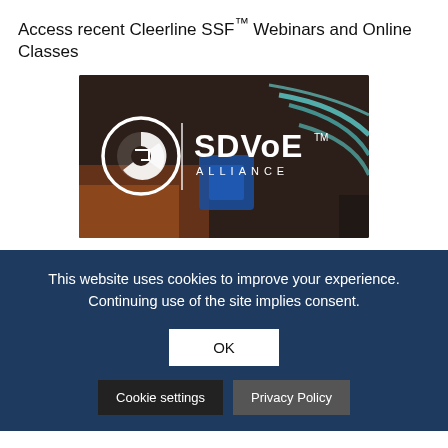Access recent Cleerline SSF™ Webinars and Online Classes
[Figure (photo): SDVoE Alliance logo overlaid on a photo of fiber optic connectors and cable tools on a workbench. White circular stylized logo on the left, vertical white divider line, then large white text 'SDVoE' with superscript TM, and 'ALLIANCE' in spaced letters below.]
This website uses cookies to improve your experience. Continuing use of the site implies consent.
OK
Cookie settings
Privacy Policy